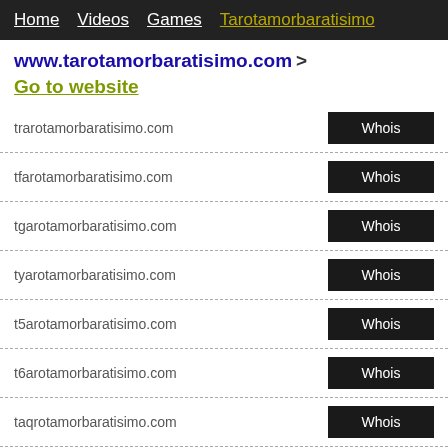Home  Videos  Games  Tarotamorbaratisimo
www.tarotamorbaratisimo.com > Go to website
trarotamorbaratisimo.com  Whois
tfarotamorbaratisimo.com  Whois
tgarotamorbaratisimo.com  Whois
tyarotamorbaratisimo.com  Whois
t5arotamorbaratisimo.com  Whois
t6arotamorbaratisimo.com  Whois
taqrotamorbaratisimo.com  Whois
tazrotamorbaratisimo.com  Whois